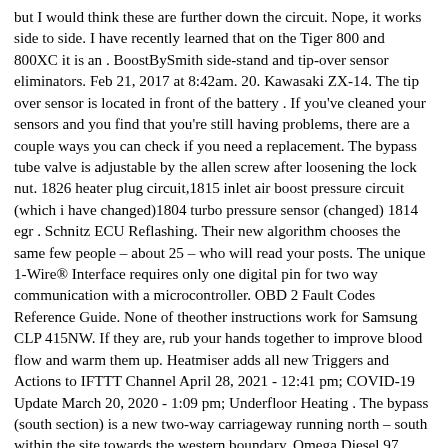but I would think these are further down the circuit. Nope, it works side to side. I have recently learned that on the Tiger 800 and 800XC it is an . BoostBySmith side-stand and tip-over sensor eliminators. Feb 21, 2017 at 8:42am. 20. Kawasaki ZX-14. The tip over sensor is located in front of the battery . If you've cleaned your sensors and you find that you're still having problems, there are a couple ways you can check if you need a replacement. The bypass tube valve is adjustable by the allen screw after loosening the lock nut. 1826 heater plug circuit,1815 inlet air boost pressure circuit (which i have changed)1804 turbo pressure sensor (changed) 1814 egr . Schnitz ECU Reflashing. Their new algorithm chooses the same few people – about 25 – who will read your posts. The unique 1-Wire® Interface requires only one digital pin for two way communication with a microcontroller. OBD 2 Fault Codes Reference Guide. None of theother instructions work for Samsung CLP 415NW. If they are, rub your hands together to improve blood flow and warm them up. Heatmiser adds all new Triggers and Actions to IFTTT Channel April 28, 2021 - 12:41 pm; COVID-19 Update March 20, 2020 - 1:09 pm; Underfloor Heating . The bypass (south section) is a new two-way carriageway running north – south within the site towards the western boundary. Omega Diesel 97 Starting Problem. I removed the switch assembly from the bike. With this one, get as close as you can to the sensor and put your ear near it. Thought that was unusual can bypass it, or is it hooked to . Be careful not to move it, the heavy side must be facing the ground or the bike will not start. This results in an